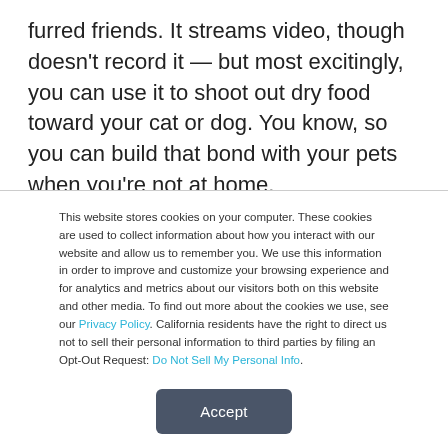furred friends. It streams video, though doesn't record it — but most excitingly, you can use it to shoot out dry food toward your cat or dog. You know, so you can build that bond with your pets when you're not at home.

I'm not a pet owner, as I say, but I would greatly love to place this on my balcony and shoot food out at the neighborhood
This website stores cookies on your computer. These cookies are used to collect information about how you interact with our website and allow us to remember you. We use this information in order to improve and customize your browsing experience and for analytics and metrics about our visitors both on this website and other media. To find out more about the cookies we use, see our Privacy Policy. California residents have the right to direct us not to sell their personal information to third parties by filing an Opt-Out Request: Do Not Sell My Personal Info.
Accept